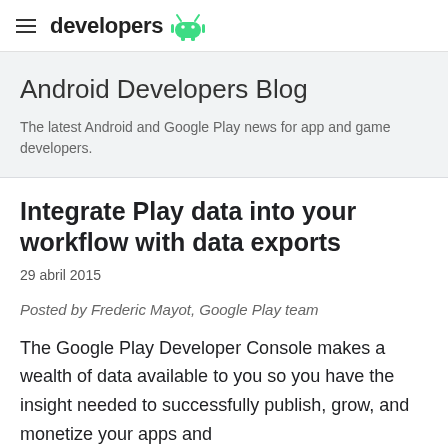developers
Android Developers Blog
The latest Android and Google Play news for app and game developers.
Integrate Play data into your workflow with data exports
29 abril 2015
Posted by Frederic Mayot, Google Play team
The Google Play Developer Console makes a wealth of data available to you so you have the insight needed to successfully publish, grow, and monetize your apps and